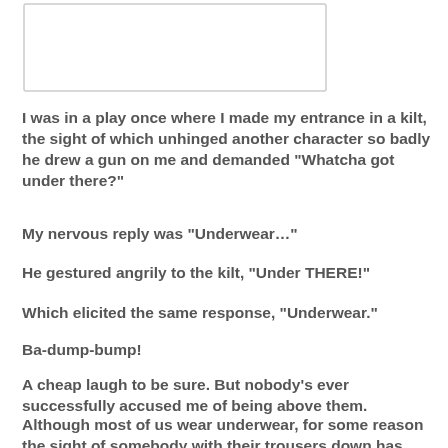[Figure (other): A rectangular bordered box, mostly empty/white, at the top of the page]
I was in a play once where I made my entrance in a kilt, the sight of which unhinged another character so badly he drew a gun on me and demanded “Whatcha got under there?”
My nervous reply was “Underwear…”
He gestured angrily to the kilt, “Under THERE!”
Which elicited the same response, “Underwear.”
Ba-dump-bump!
A cheap laugh to be sure. But nobody’s ever successfully accused me of being above them.
Although most of us wear underwear, for some reason the sight of somebody with their trousers down has been a staple of comedy probably from the time undergarments were invented.